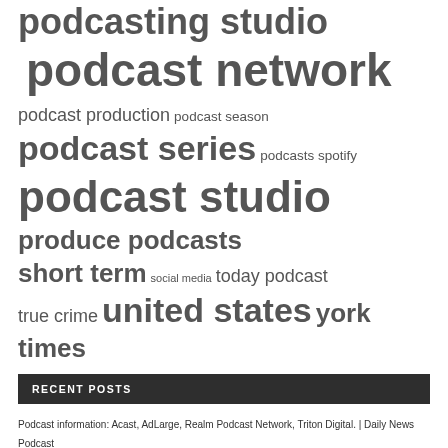podcasting studio  podcast network  podcast production  podcast season  podcast series  podcasts spotify  podcast studio  produce podcasts  short term  social media  today podcast  true crime  united states  york times
RECENT POSTS
Podcast information: Acast, AdLarge, Realm Podcast Network, Triton Digital. | Daily News Podcast
[Podcast] Preview 2022 – Denver Broncos
Fellowship Hi-Crest Church offers low-cost, high-tech studio in Topeka